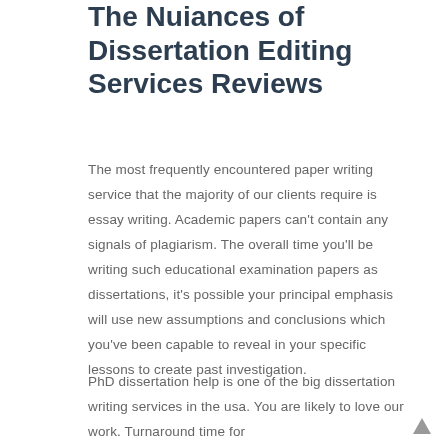The Nuiances of Dissertation Editing Services Reviews
The most frequently encountered paper writing service that the majority of our clients require is essay writing. Academic papers can't contain any signals of plagiarism. The overall time you'll be writing such educational examination papers as dissertations, it's possible your principal emphasis will use new assumptions and conclusions which you've been capable to reveal in your specific lessons to create past investigation.
PhD dissertation help is one of the big dissertation writing services in the usa. You are likely to love our work. Turnaround time for